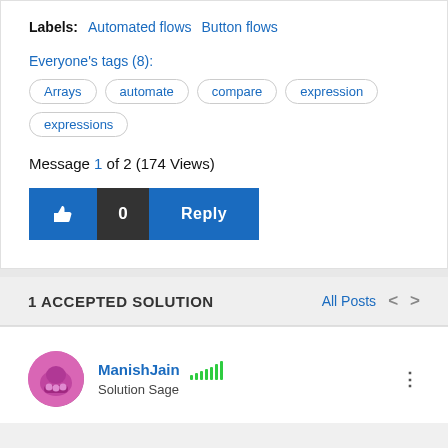Labels: Automated flows  Button flows
Everyone's tags (8):
Arrays
automate
compare
expression
expressions
Message 1 of 2 (174 Views)
[Figure (screenshot): Like button (thumbs up icon, blue), count badge showing 0 (dark), and Reply button (blue)]
1 ACCEPTED SOLUTION
All Posts  <  >
ManishJain  Solution Sage